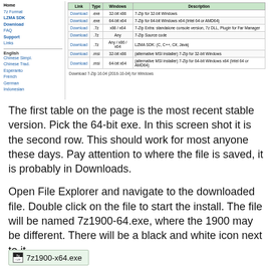[Figure (screenshot): Screenshot of the 7-Zip download page showing a navigation sidebar on the left with links (Home, 7z Format, LZMA SDK, Download, FAQ, Support, Links) and language links below, and a download table on the right listing download links with columns: Link, Type, Windows, Description. Caption reads: Download 7-Zip 16.04 (2016-10-04) for Windows]
The first table on the page is the most recent stable version. Pick the 64-bit exe. In this screen shot it is the second row. This should work for most anyone these days. Pay attention to where the file is saved, it is probably in Downloads.
Open File Explorer and navigate to the downloaded file. Double click on the file to start the install. The file will be named 7z1900-64.exe, where the 1900 may be different. There will be a black and white icon next to it.
[Figure (screenshot): File icon showing 7z1900-x64.exe with a black and white 7-Zip icon on a light green background]